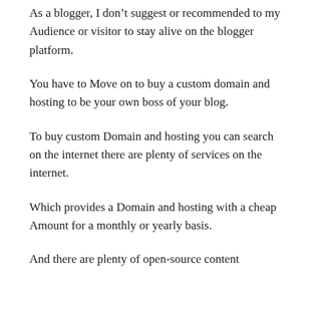As a blogger, I don’t suggest or recommended to my Audience or visitor to stay alive on the blogger platform.
You have to Move on to buy a custom domain and hosting to be your own boss of your blog.
To buy custom Domain and hosting you can search on the internet there are plenty of services on the internet.
Which provides a Domain and hosting with a cheap Amount for a monthly or yearly basis.
And there are plenty of open-source content